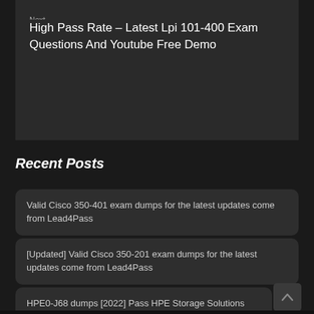Next
High Pass Rate – Latest Lpi 101-400 Exam Questions And Youtube Free Demo
Recent Posts
Valid Cisco 350-401 exam dumps for the latest updates come from Lead4Pass
[Updated] Valid Cisco 350-201 exam dumps for the latest updates come from Lead4Pass
HPE0-J68 dumps [2022] Pass HPE Storage Solutions Certification Exam